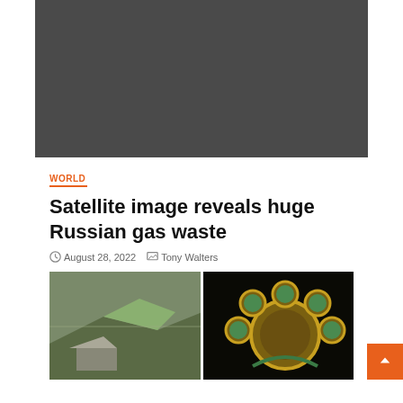[Figure (photo): Large dark gray placeholder image at the top of the article]
WORLD
Satellite image reveals huge Russian gas waste
August 28, 2022  Tony Walters
[Figure (photo): Left: outdoor landscape photo with green tarpaulin and structures. Right: close-up of gold artifact with turquoise/green inlaid stones in circular pattern.]